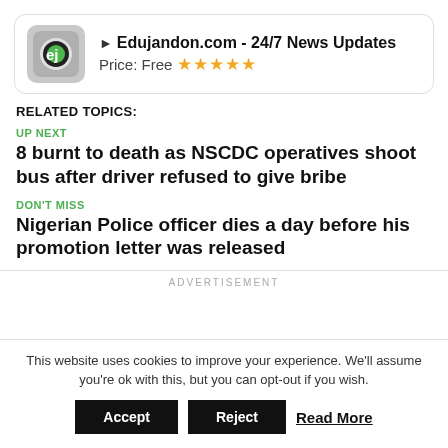[Figure (screenshot): App banner for Edujandon.com - 24/7 News Updates showing app icon, title, price Free, and 5 star rating]
RELATED TOPICS:
UP NEXT
8 burnt to death as NSCDC operatives shoot bus after driver refused to give bribe
DON'T MISS
Nigerian Police officer dies a day before his promotion letter was released
ADVERTISEMENT
This website uses cookies to improve your experience. We'll assume you're ok with this, but you can opt-out if you wish.